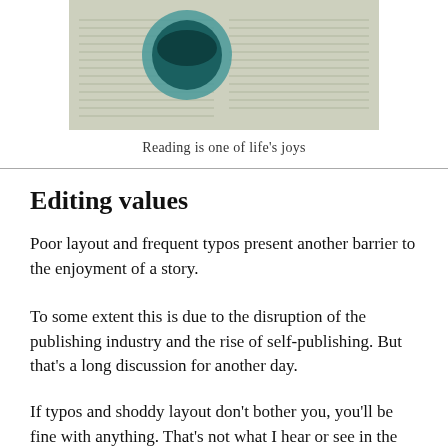[Figure (photo): A coffee cup resting on an open newspaper or book, viewed from above. The image is cropped showing only the top portion.]
Reading is one of life's joys
Editing values
Poor layout and frequent typos present another barrier to the enjoyment of a story.
To some extent this is due to the disruption of the publishing industry and the rise of self-publishing. But that’s a long discussion for another day.
If typos and shoddy layout don’t bother you, you’ll be fine with anything. That’s not what I hear or see in the world of books, though.